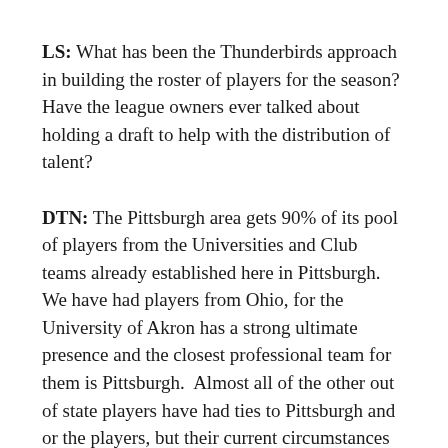LS: What has been the Thunderbirds approach in building the roster of players for the season? Have the league owners ever talked about holding a draft to help with the distribution of talent?
DTN: The Pittsburgh area gets 90% of its pool of players from the Universities and Club teams already established here in Pittsburgh.  We have had players from Ohio, for the University of Akron has a strong ultimate presence and the closest professional team for them is Pittsburgh.  Almost all of the other out of state players have had ties to Pittsburgh and or the players, but their current circumstances prevent them from living in Pittsburgh.
As for the draft, this has been discussed several times at ownership meetings. The AUDL wants the best of the best